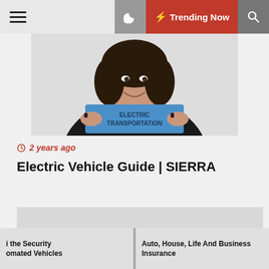☰  🌙  ⚡ Trending Now  🔍
[Figure (photo): Woman smiling and holding a blue book titled ELECTRIC TRANSPORTATION]
⏱ 2 years ago
Electric Vehicle Guide | SIERRA
[Figure (photo): Aerial view of a white semi-truck with trailer driving on a highway]
i the Security omated Vehicles
Auto, House, Life And Business Insurance